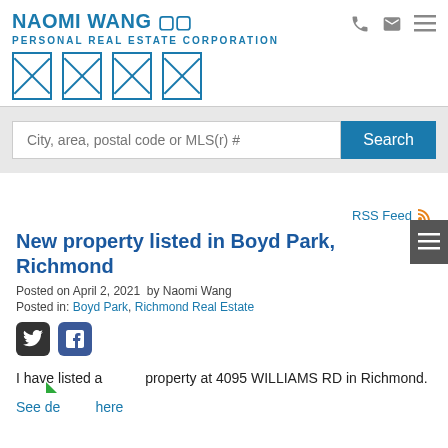NAOMI WANG 🏠🏠 PERSONAL REAL ESTATE CORPORATION
[Figure (screenshot): Search bar with placeholder text 'City, area, postal code or MLS(r) #' and a blue Search button]
RSS Feed
New property listed in Boyd Park, Richmond
Posted on April 2, 2021  by Naomi Wang
Posted in: Boyd Park, Richmond Real Estate
[Figure (infographic): Twitter and Facebook share icons]
I have listed a new property at 4095 WILLIAMS RD in Richmond.
See details here